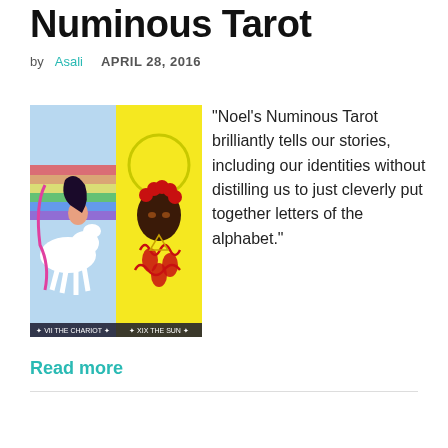Numinous Tarot
by Asali   APRIL 28, 2016
[Figure (illustration): Two tarot cards side by side: left card shows a figure on a white horse with rainbow background (VII The Chariot), right card shows a dark-skinned figure with red flowers and yellow background (XIX The Sun)]
"Noel's Numinous Tarot brilliantly tells our stories, including our identities without distilling us to just cleverly put together letters of the alphabet."
Read more